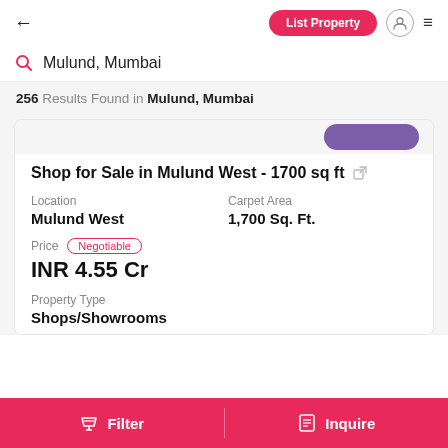← | List Property | [user icon] | ≡
Mulund, Mumbai
256 Results Found in Mulund, Mumbai
Shop for Sale in Mulund West - 1700 sq ft
| Location | Carpet Area |
| --- | --- |
| Mulund West | 1,700 Sq. Ft. |
Price  Negotiable
INR 4.55 Cr
Property Type
Shops/Showrooms
Filter | Inquire